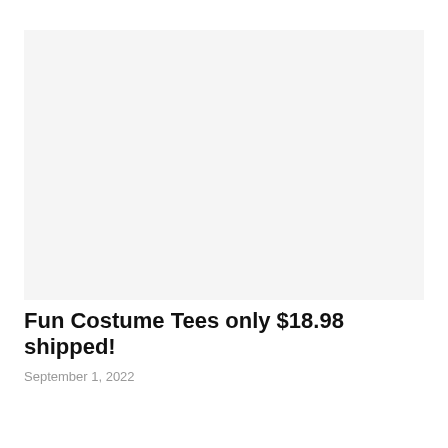[Figure (photo): Light gray image placeholder area for a product photo]
Fun Costume Tees only $18.98 shipped!
September 1, 2022